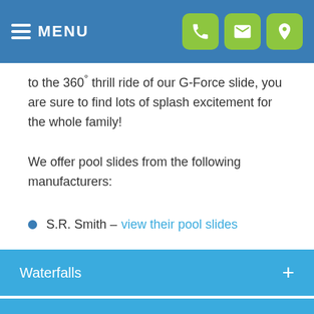MENU
to the 360° thrill ride of our G-Force slide, you are sure to find lots of splash excitement for the whole family!
We offer pool slides from the following manufacturers:
S.R. Smith – view their pool slides
Waterfalls +
LED Pool Lighting +
Get Started with a New Pool